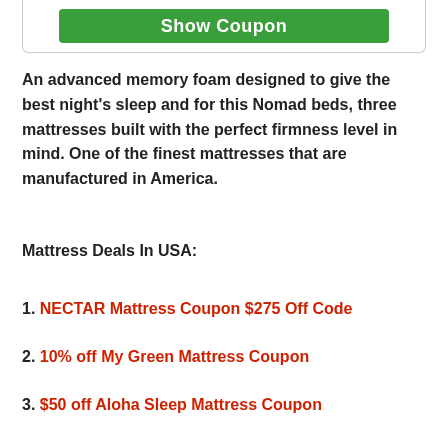[Figure (screenshot): Green 'Show Coupon' button inside a white bordered card at the top of the page]
An advanced memory foam designed to give the best night's sleep and for this Nomad beds, three mattresses built with the perfect firmness level in mind. One of the finest mattresses that are manufactured in America.
Mattress Deals In USA:
1. NECTAR Mattress Coupon $275 Off Code
2. 10% off My Green Mattress Coupon
3. $50 off Aloha Sleep Mattress Coupon